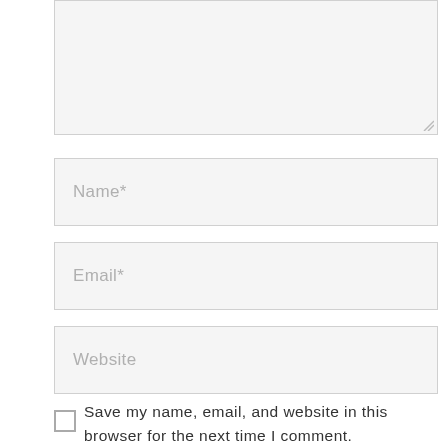[Figure (screenshot): Textarea input box (comment field), partially visible at top]
Name*
Email*
Website
Save my name, email, and website in this browser for the next time I comment.
POST COMMENT
TOP
Pingback: WIP – Aflight Lace Cuff Socks Test Knit ||